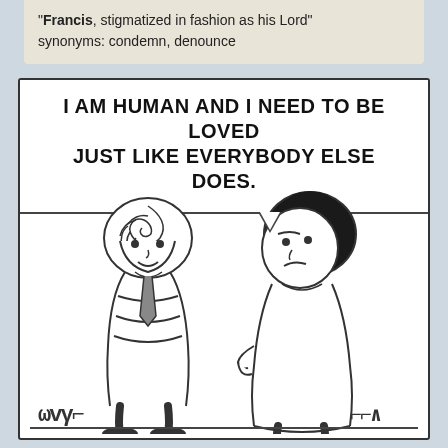"Francis, stigmatized in fashion as his Lord"
synonyms: condemn, denounce
[Figure (illustration): Peanuts comic strip panel showing Linus and Lucy facing each other. A speech bubble reads: 'I AM HUMAN AND I NEED TO BE LOVED JUST LIKE EVERYBODY ELSE DOES.' Linus stands on the left with his characteristic swirly hair and striped shirt, Lucy stands on the right with her dark hair looking stern. Grass and ground lines at the bottom.]